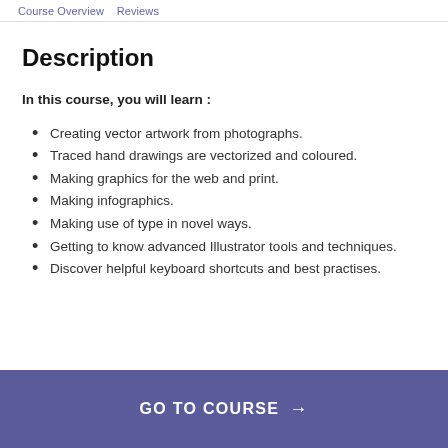Course Overview   Reviews
Description
In this course, you will learn :
Creating vector artwork from photographs.
Traced hand drawings are vectorized and coloured.
Making graphics for the web and print.
Making infographics.
Making use of type in novel ways.
Getting to know advanced Illustrator tools and techniques.
Discover helpful keyboard shortcuts and best practises.
GO TO COURSE →